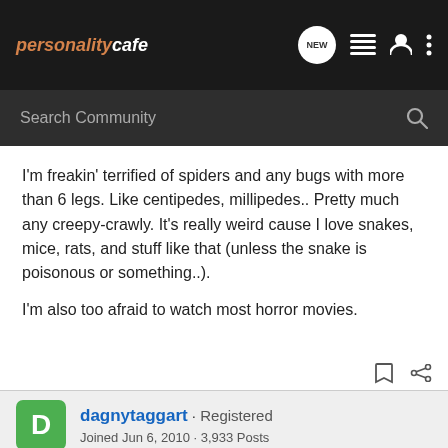personalitycafe
I'm freakin' terrified of spiders and any bugs with more than 6 legs. Like centipedes, millipedes.. Pretty much any creepy-crawly. It's really weird cause I love snakes, mice, rats, and stuff like that (unless the snake is poisonous or something..).
I'm also too afraid to watch most horror movies.
dagnytaggart · Registered
Joined Jun 6, 2010 · 3,933 Posts
#7 · Oct 8, 2010
Why are so many people afraid of spiders?? (Unless they were